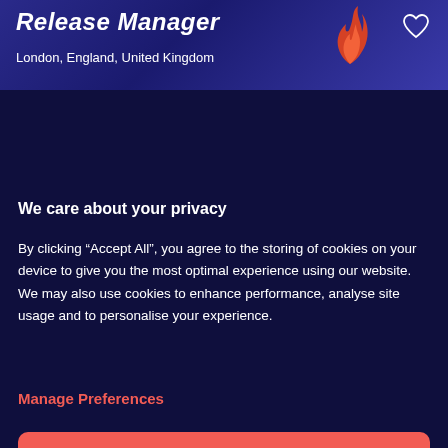Release Manager
London, England, United Kingdom
We care about your privacy
By clicking “Accept All”, you agree to the storing of cookies on your device to give you the most optimal experience using our website. We may also use cookies to enhance performance, analyse site usage and to personalise your experience.
Manage Preferences
ACCEPT ALL
REJECT ALL